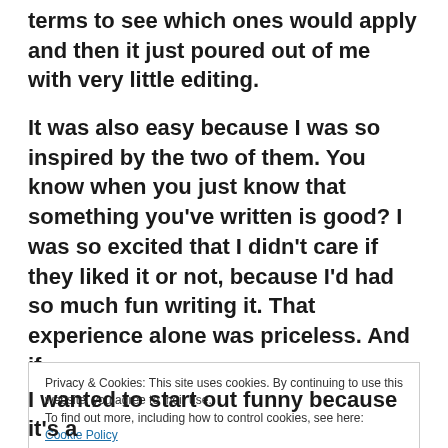terms to see which ones would apply and then it just poured out of me with very little editing.
It was also easy because I was so inspired by the two of them. You know when you just know that something you've written is good? I was so excited that I didn't care if they liked it or not, because I'd had so much fun writing it. That experience alone was priceless. And if
Privacy & Cookies: This site uses cookies. By continuing to use this website, you agree to their use.
To find out more, including how to control cookies, see here: Cookie Policy
I wanted to start out funny because it's a